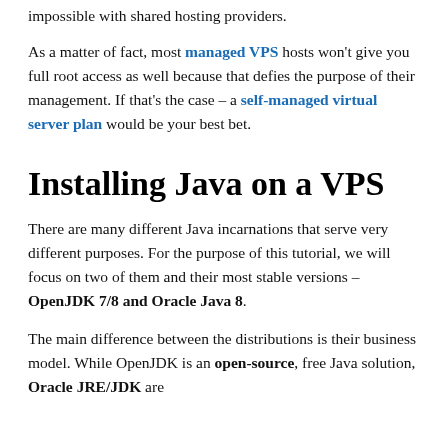impossible with shared hosting providers.

As a matter of fact, most managed VPS hosts won't give you full root access as well because that defies the purpose of their management. If that's the case – a self-managed virtual server plan would be your best bet.
Installing Java on a VPS
There are many different Java incarnations that serve very different purposes. For the purpose of this tutorial, we will focus on two of them and their most stable versions – OpenJDK 7/8 and Oracle Java 8.
The main difference between the distributions is their business model. While OpenJDK is an open-source, free Java solution, Oracle JRE/JDK are